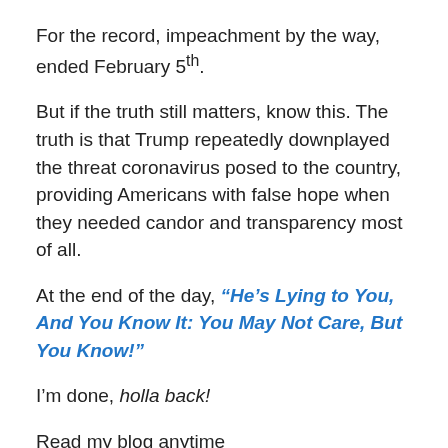For the record, impeachment by the way, ended February 5th.
But if the truth still matters, know this. The truth is that Trump repeatedly downplayed the threat coronavirus posed to the country, providing Americans with false hope when they needed candor and transparency most of all.
At the end of the day, “He’s Lying to You, And You Know It: You May Not Care, But You Know!”
I’m done, holla back!
Read my blog anytime by clicking the link: http://thesphinxofcharlotte.com. Find a new post each Wednesday.
To subscribe, click on Follow in the bottom right hand